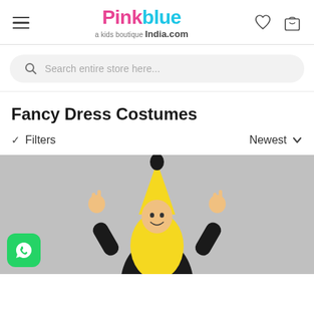[Figure (logo): PinkBlue India.com - a kids boutique logo with pink 'Pink' and blue 'blue' text, with hamburger menu icon on left and heart/bag icons on right]
Search entire store here...
Fancy Dress Costumes
✓ Filters    Newest ∨
[Figure (photo): A child wearing a banana fancy dress costume (yellow banana suit with black tip hat) on a grey background, making peace signs with both hands]